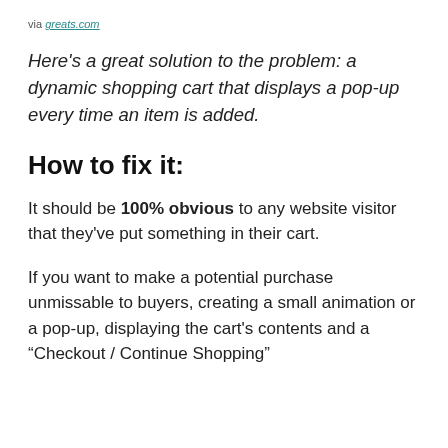via greats.com
Here's a great solution to the problem: a dynamic shopping cart that displays a pop-up every time an item is added.
How to fix it:
It should be 100% obvious to any website visitor that they've put something in their cart.
If you want to make a potential purchase unmissable to buyers, creating a small animation or a pop-up, displaying the cart's contents and a “Checkout / Continue Shopping”